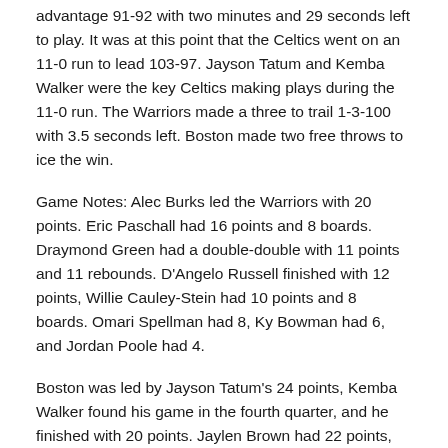advantage 91-92 with two minutes and 29 seconds left to play. It was at this point that the Celtics went on an 11-0 run to lead 103-97. Jayson Tatum and Kemba Walker were the key Celtics making plays during the 11-0 run. The Warriors made a three to trail 1-3-100 with 3.5 seconds left. Boston made two free throws to ice the win.
Game Notes: Alec Burks led the Warriors with 20 points. Eric Paschall had 16 points and 8 boards. Draymond Green had a double-double with 11 points and 11 rebounds. D'Angelo Russell finished with 12 points, Willie Cauley-Stein had 10 points and 8 boards. Omari Spellman had 8, Ky Bowman had 6, and Jordan Poole had 4.
Boston was led by Jayson Tatum's 24 points, Kemba Walker found his game in the fourth quarter, and he finished with 20 points. Jaylen Brown had 22 points, and Marcus Smart had 15 points.
The Warriors lost their sixth in a row and are now 2-11 for the year. The Celtics won their 10th in a row and are now 10-1.